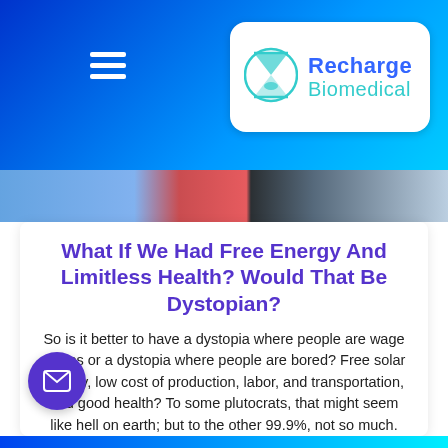[Figure (logo): Recharge Biomedical logo with hourglass icon in a white rounded rectangle card on blue gradient header bar]
[Figure (photo): Partial hero image strip showing manga-style colorful illustration with red and dark tones]
What If We Had Free Energy And Limitless Health? Would That Be Dystopian?
So is it better to have a dystopia where people are wage slaves or a dystopia where people are bored? Free solar energy, low cost of production, labor, and transportation, and good health? To some plutocrats, that might seem like hell on earth; but to the other 99.9%, not so much.
READ MORE